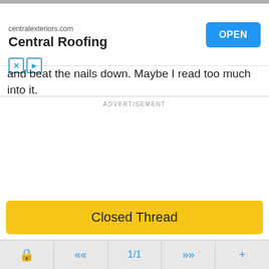[Figure (screenshot): Advertisement banner for Central Roofing from centralexteriors.com with an OPEN button]
and beat the nails down. Maybe I read too much into it.
ADVERTISEMENT
Closed Thread
🔒  «  1/1  »  +